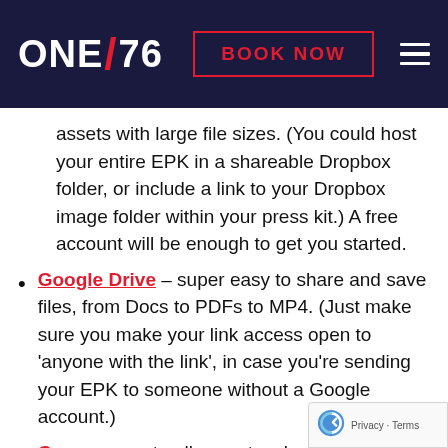ONE/76 | BOOK NOW
assets with large file sizes. (You could host your entire EPK in a shareable Dropbox folder, or include a link to your Dropbox image folder within your press kit.) A free account will be enough to get you started.
Google Drive – super easy to share and save files, from Docs to PDFs to MP4. (Just make sure you make your link access open to 'anyone with the link', in case you're sending your EPK to someone without a Google account.)
Canva – create album artwork, edit photos, design social media assets and style your contact info to match your brand with cu... (truncated)